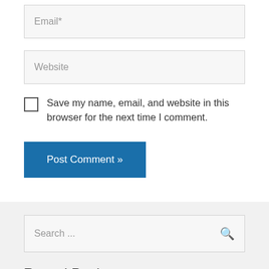[Figure (screenshot): Email input field with placeholder text 'Email*' on light gray background]
[Figure (screenshot): Website input field with placeholder text 'Website' on light gray background]
Save my name, email, and website in this browser for the next time I comment.
[Figure (screenshot): Blue 'Post Comment »' button]
[Figure (screenshot): Search input field with placeholder 'Search ...' and magnifying glass icon]
Recent Posts